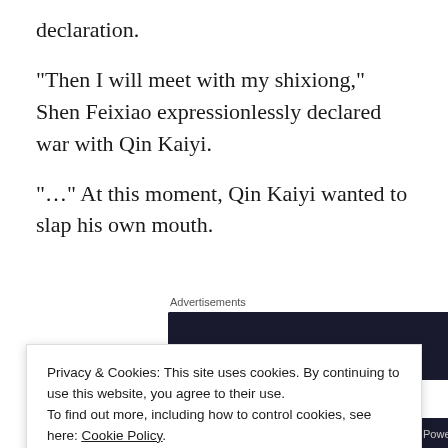declaration.
“Then I will meet with my shixiong,” Shen Feixiao expressionlessly declared war with Qin Kaiyi.
“…” At this moment, Qin Kaiyi wanted to slap his own mouth.
Advertisements
[Figure (screenshot): Dark advertisement banner block]
Privacy & Cookies: This site uses cookies. By continuing to use this website, you agree to their use.
To find out more, including how to control cookies, see here: Cookie Policy
Close and accept
[Figure (screenshot): WordPress.com powered footer bar]